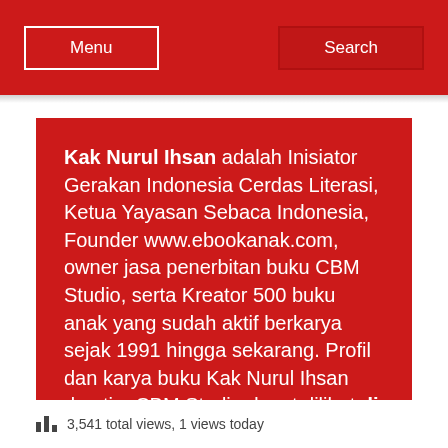Menu | Search
Kak Nurul Ihsan adalah Inisiator Gerakan Indonesia Cerdas Literasi, Ketua Yayasan Sebaca Indonesia, Founder www.ebookanak.com, owner jasa penerbitan buku CBM Studio, serta Kreator 500 buku anak yang sudah aktif berkarya sejak 1991 hingga sekarang. Profil dan karya buku Kak Nurul Ihsan dan tim CBM Studio dapat dilihat di sini.
3,541 total views, 1 views today